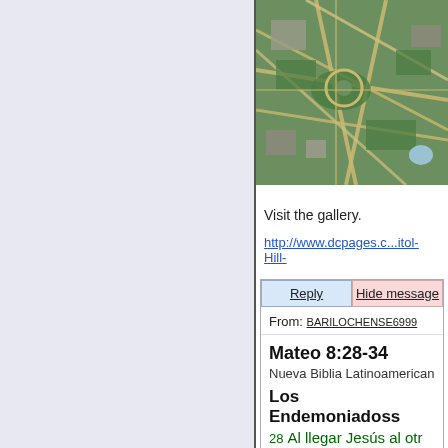[Figure (map): Aerial satellite view of what appears to be Capitol Hill / National Mall area in Washington DC, showing roads, green spaces, and buildings from above]
Visit the gallery.
http://www.dcpages.c...itol-Hill-
Reply    Hide message
From: BARILOCHENSE6999
Mateo 8:28-34
Nueva Biblia Latinoamerican
Los Endemoniadoss
28 Al llegar Jesús al otr